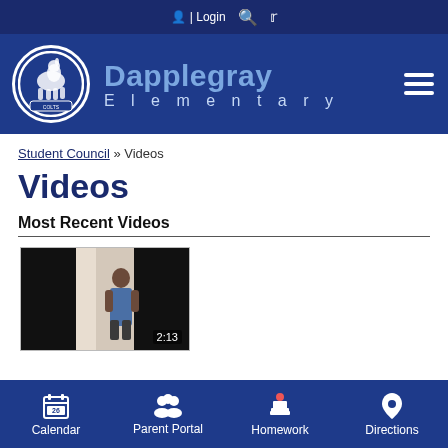Login | Search | Twitter
[Figure (logo): Dapplegray Elementary school banner with Colts logo, school name, and hamburger menu icon]
Student Council » Videos
Videos
Most Recent Videos
[Figure (screenshot): Video thumbnail showing a person standing in a room, with duration 2:13 shown in bottom-right corner]
Calendar | Parent Portal | Homework | Directions